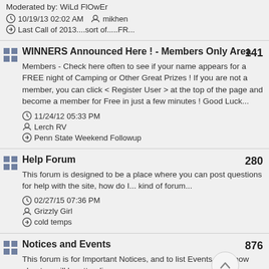Moderated by: WiLd FlOwEr
10/19/13 02:02 AM   mikhen
Last Call of 2013....sort of.....FR...
WINNERS Announced Here ! - Members Only Area
Members - Check here often to see if your name appears for a FREE night of Camping or Other Great Prizes ! If you are not a member, you can click < Register User > at the top of the page and become a member for Free in just a few minutes ! Good Luck...
11/24/12 05:33 PM
Lerch RV
Penn State Weekend Followup
Help Forum
This forum is designed to be a place where you can post questions for help with the site, how do I... kind of forum...
02/27/15 07:36 PM
Grizzly Girl
cold temps
Notices and Events
This forum is for Important Notices, and to list Events you know about or will be attending.